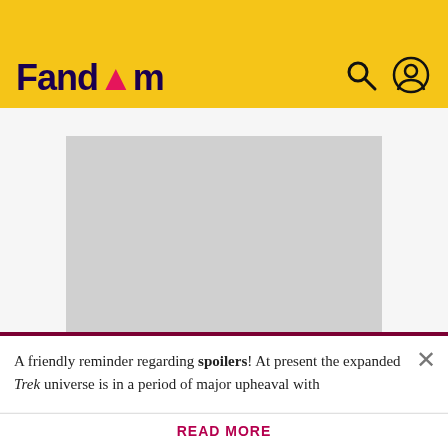Fandom
[Figure (other): Advertisement placeholder gray rectangle]
ADVERTISEMENT
MEMORY BETA, NON-CANON STAR TREK WIKI
Flight 19
A friendly reminder regarding spoilers! At present the expanded Trek universe is in a period of major upheaval with
READ MORE